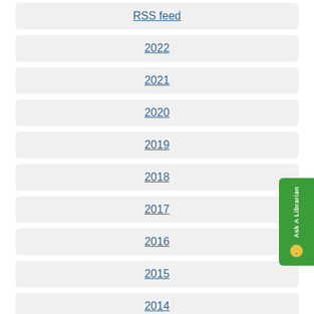RSS feed
2022
2021
2020
2019
2018
2017
2016
2015
2014
2013